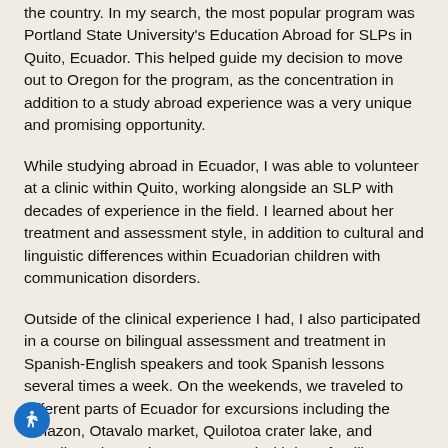the country. In my search, the most popular program was Portland State University's Education Abroad for SLPs in Quito, Ecuador. This helped guide my decision to move out to Oregon for the program, as the concentration in addition to a study abroad experience was a very unique and promising opportunity.
While studying abroad in Ecuador, I was able to volunteer at a clinic within Quito, working alongside an SLP with decades of experience in the field. I learned about her treatment and assessment style, in addition to cultural and linguistic differences within Ecuadorian children with communication disorders.
Outside of the clinical experience I had, I also participated in a course on bilingual assessment and treatment in Spanish-English speakers and took Spanish lessons several times a week. On the weekends, we traveled to different parts of Ecuador for excursions including the Amazon, Otavalo market, Quilotoa crater lake, and Papallacta hot springs. We stayed with host families throughout the trip, tried a variety of Ecuadorian cuisine, and developed our Spanish